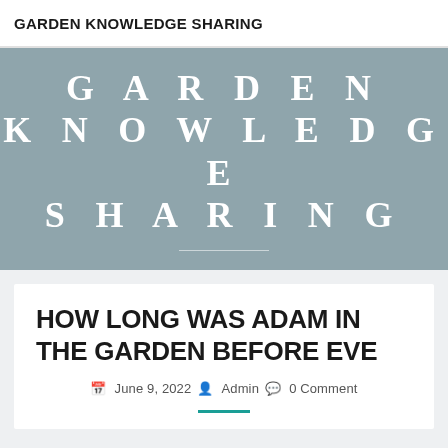GARDEN KNOWLEDGE SHARING
[Figure (other): Hero banner with large spaced white text 'GARDEN KNOWLEDGE SHARING' on blue-grey background with a decorative horizontal rule below]
HOW LONG WAS ADAM IN THE GARDEN BEFORE EVE
June 9, 2022  Admin  0 Comment